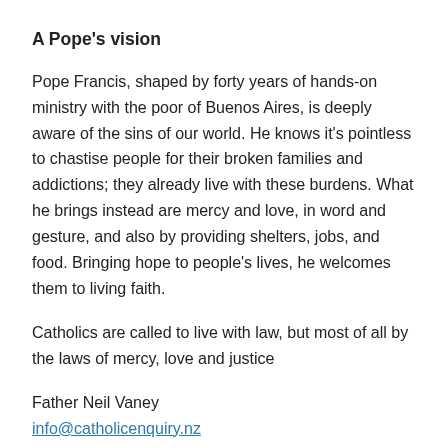A Pope's vision
Pope Francis, shaped by forty years of hands-on ministry with the poor of Buenos Aires, is deeply aware of the sins of our world. He knows it's pointless to chastise people for their broken families and addictions; they already live with these burdens. What he brings instead are mercy and love, in word and gesture, and also by providing shelters, jobs, and food. Bringing hope to people's lives, he welcomes them to living faith.
Catholics are called to live with law, but most of all by the laws of mercy, love and justice
Father Neil Vaney
info@catholicenquiry.nz